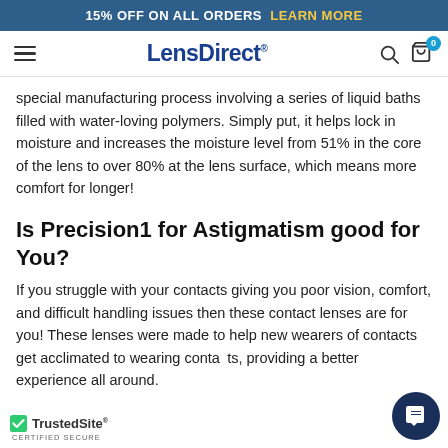15% OFF ON ALL ORDERS  LEARN MORE
[Figure (logo): LensDirect logo with hamburger menu, search icon, and cart icon with badge '0']
special manufacturing process involving a series of liquid baths filled with water-loving polymers. Simply put, it helps lock in moisture and increases the moisture level from 51% in the core of the lens to over 80% at the lens surface, which means more comfort for longer!
Is Precision1 for Astigmatism good for You?
If you struggle with your contacts giving you poor vision, comfort, and difficult handling issues then these contact lenses are for you! These lenses were made to help new wearers of contacts get acclimated to wearing contacts, providing a better experience all around.